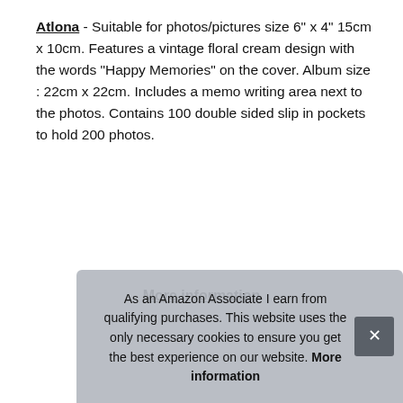Atlona - Suitable for photos/pictures size 6" x 4" 15cm x 10cm. Features a vintage floral cream design with the words "Happy Memories" on the cover. Album size : 22cm x 22cm. Includes a memo writing area next to the photos. Contains 100 double sided slip in pockets to hold 200 photos.
More information
|  |  |
| --- | --- |
| Brand | Atlona |
| Manufacturer | Tallon |
| Height | 5 cm (1.97 Inches) |
As an Amazon Associate I earn from qualifying purchases. This website uses the only necessary cookies to ensure you get the best experience on our website. More information